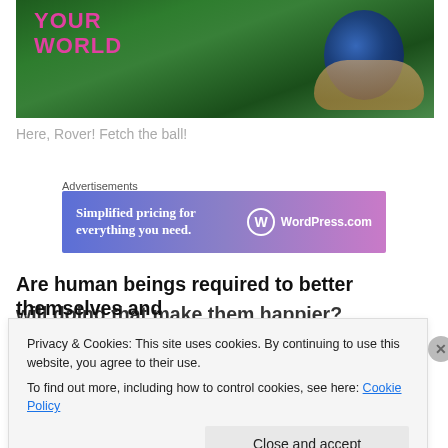[Figure (photo): Hero image showing hands cupping a glowing Earth globe surrounded by green grass, with text 'YOUR WORLD' in pink/magenta bold letters on the left side]
Here, Rover! Fetch the ball!
[Figure (other): WordPress.com advertisement banner with gradient blue-purple-pink background. Text: 'Simplified pricing for everything you need.' with WordPress.com logo on the right.]
Are human beings required to better themselves and will doing that make them happier?
Privacy & Cookies: This site uses cookies. By continuing to use this website, you agree to their use.
To find out more, including how to control cookies, see here: Cookie Policy